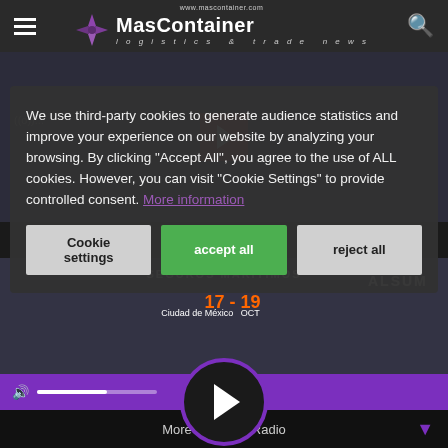MasContainer — logistics & trade news — www.mascontainer.com
[Figure (screenshot): Video thumbnail with red YouTube-style play button on dark blurred background]
We use third-party cookies to generate audience statistics and improve your experience on our website by analyzing your browsing. By clicking "Accept All", you agree to the use of ALL cookies. However, you can visit "Cookie Settings" to provide controlled consent. More information
Cookie settings | accept all | reject all
[Figure (screenshot): Event banner showing SEGUROS MARITIMOS, Ciudad de México, 17-19 OCT, with ALSUM logo, partially obscured by cookie overlay]
[Figure (screenshot): Purple audio player bar with volume icon and progress bar, large circular play button overlay]
MoreContainer Radio